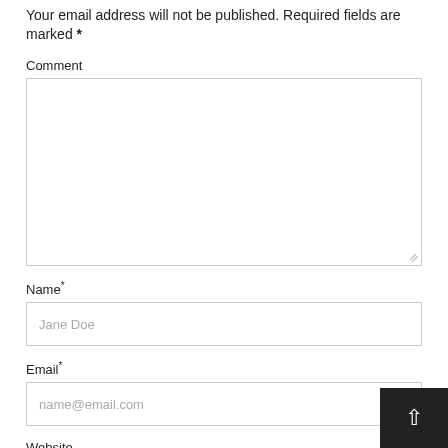Your email address will not be published. Required fields are marked *
Comment
[Figure (screenshot): Empty comment textarea with resize handle]
Name*
[Figure (screenshot): Name input field with placeholder text Jane Doe]
Email*
[Figure (screenshot): Email input field with placeholder text name@email.com]
Website